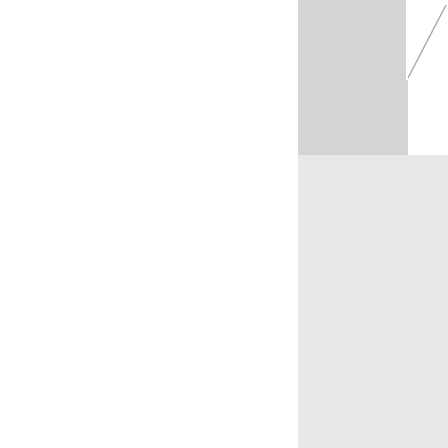[Figure (photo): Portrait photograph of James A. Garfield, partially visible in upper right area of the page]
JAMES A. GARFIELD.
42; Sherman, 3; Washburne, 5. T Grant's candidacy on Garfield. T Arthur for Vice-President the dou election assured. Many of the dis
leaders and papers continued to c ridicule. He did not condescend t went into it with spirit, and by hi served to attract great crowds an the same time placed his party a amid misrepresentation, his fres which were broader than mere m
From the beginning to the end always characterized his conduct